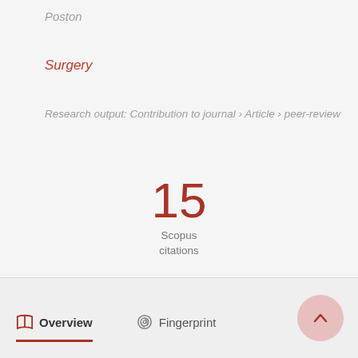Poston
Surgery
Research output: Contribution to journal › Article › peer-review
15 Scopus citations
Overview   Fingerprint